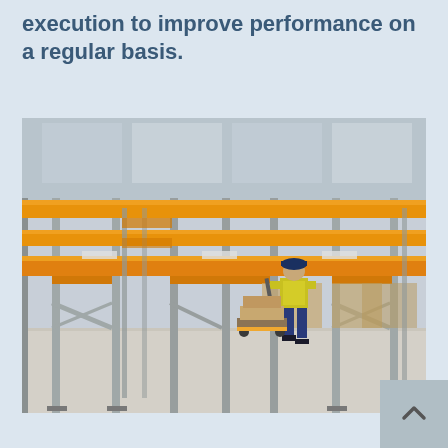execution to improve performance on a regular basis.
[Figure (photo): Interior of a large warehouse with tall orange metal pallet racking shelves. A worker in a yellow safety vest and blue pants is walking and pulling a pallet jack loaded with boxes. The floor is polished concrete and the ceiling is high with industrial lighting.]